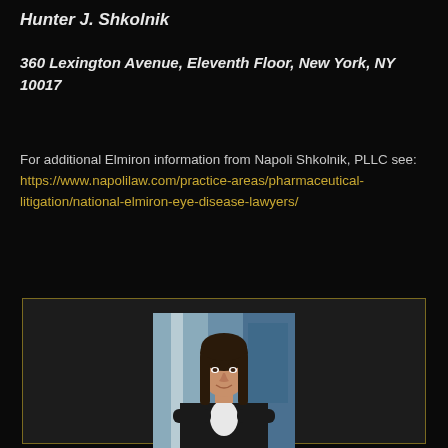Hunter J. Shkolnik
360 Lexington Avenue, Eleventh Floor, New York, NY 10017
For additional Elmiron information from Napoli Shkolnik, PLLC see: https://www.napolilaw.com/practice-areas/pharmaceutical-litigation/national-elmiron-eye-disease-lawyers/
[Figure (photo): Professional headshot of a woman with long dark hair wearing a black blazer and white top, posed with arms crossed in an office/corporate setting]